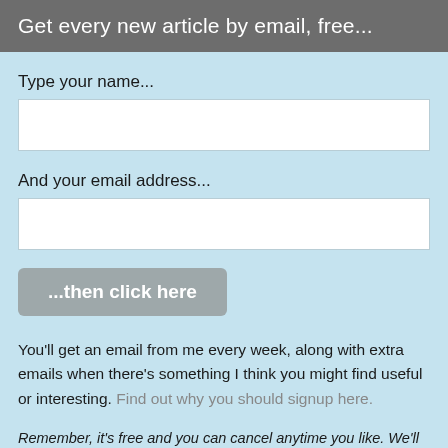Get every new article by email, free...
Type your name...
[Figure (other): Empty text input field for name]
And your email address...
[Figure (other): Empty text input field for email address]
[Figure (other): Submit button labeled '...then click here']
You'll get an email from me every week, along with extra emails when there's something I think you might find useful or interesting. Find out why you should signup here.
Remember, it's free and you can cancel anytime you like. We'll store your details securely and never pass them to anyone else. (Full privacy notice here)